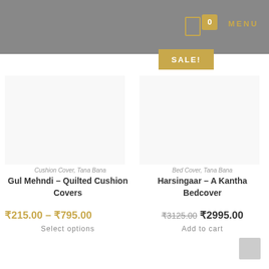MENU  0
SALE!
Cushion Cover, Tana Bana
Gul Mehndi – Quilted Cushion Covers
₹215.00 – ₹795.00
Select options
Bed Cover, Tana Bana
Harsingaar – A Kantha Bedcover
₹3125.00  ₹2995.00
Add to cart